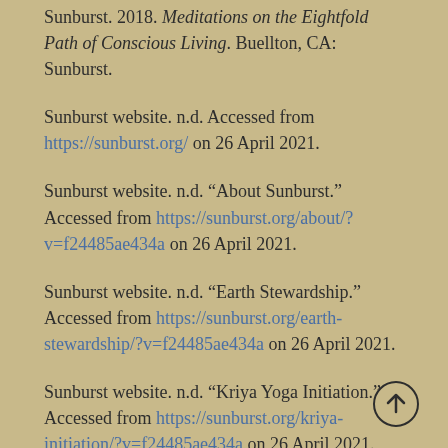Sunburst. 2018. Meditations on the Eightfold Path of Conscious Living. Buellton, CA: Sunburst.
Sunburst website. n.d. Accessed from https://sunburst.org/ on 26 April 2021.
Sunburst website. n.d. “About Sunburst.” Accessed from https://sunburst.org/about/?v=f24485ae434a on 26 April 2021.
Sunburst website. n.d. “Earth Stewardship.” Accessed from https://sunburst.org/earth-stewardship/?v=f24485ae434a on 26 April 2021.
Sunburst website. n.d. “Kriya Yoga Initiation.” Accessed from https://sunburst.org/kriya-initiation/?v=f24485ae434a on 26 April 2021.